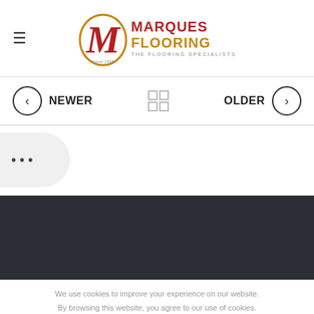[Figure (logo): Marques Flooring logo — stylized red M in gold circle, with text MARQUES FLOORING THE FLOORING SPECIALISTS]
≡  MARQUES FLOORING — THE FLOORING SPECIALISTS
< NEWER   [grid icon]   OLDER >
[Figure (other): Ellipsis bubble with three dots (...)]
[Figure (other): Dark background content area (footer/content section)]
We use cookies to improve your experience on our website. By browsing this website, you agree to our use of cookies.
MORE INFO    ACCEPT